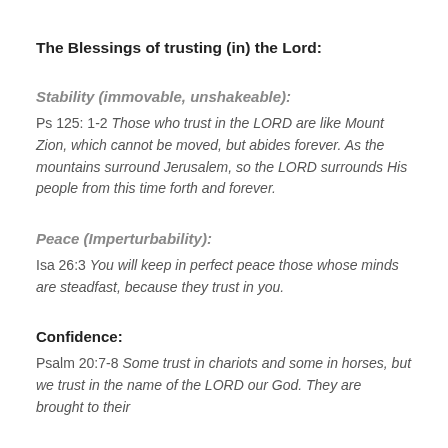The Blessings of trusting (in) the Lord:
Stability (immovable, unshakeable):
Ps 125: 1-2 Those who trust in the LORD are like Mount Zion, which cannot be moved, but abides forever. As the mountains surround Jerusalem, so the LORD surrounds His people from this time forth and forever.
Peace (Imperturbability):
Isa 26:3 You will keep in perfect peace those whose minds are steadfast, because they trust in you.
Confidence:
Psalm 20:7-8 Some trust in chariots and some in horses, but we trust in the name of the LORD our God. They are brought to their